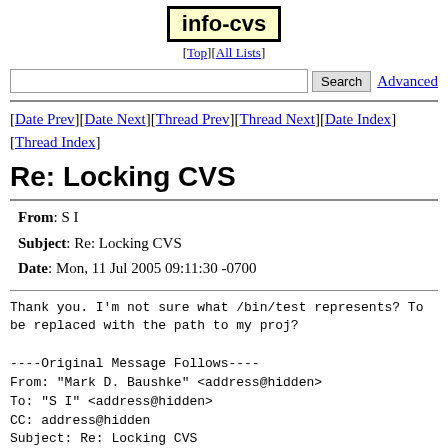info-cvs
[Top][All Lists]
Search  Advanced
[Date Prev][Date Next][Thread Prev][Thread Next][Date Index][Thread Index]
Re: Locking CVS
| From: | S I |
| Subject: | Re: Locking CVS |
| Date: | Mon, 11 Jul 2005 09:11:30 -0700 |
Thank you. I'm not sure what /bin/test represents? To
be replaced with the path to my proj?

----Original Message Follows----
From: "Mark D. Baushke" <address@hidden>
To: "S I" <address@hidden>
CC: address@hidden
Subject: Re: Locking CVS
Date: Mon, 11 Jul 2005 08:49:43 -0700
MIME-Version: 1.0